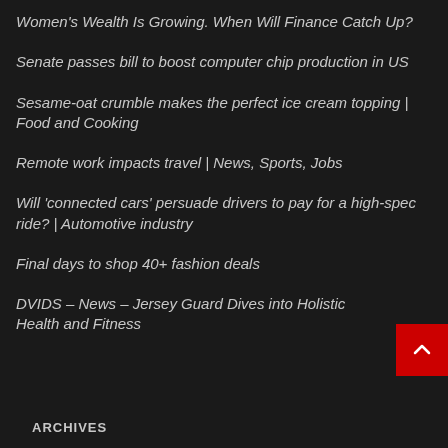Women's Wealth Is Growing. When Will Finance Catch Up?
Senate passes bill to boost computer chip production in US
Sesame-oat crumble makes the perfect ice cream topping | Food and Cooking
Remote work impacts travel | News, Sports, Jobs
Will 'connected cars' persuade drivers to pay for a high-spec ride? | Automotive industry
Final days to shop 40+ fashion deals
DVIDS – News – Jersey Guard Dives into Holistic Health and Fitness
ARCHIVES